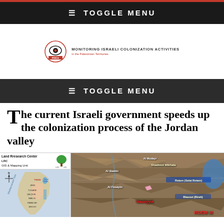≡ TOGGLE MENU
[Figure (logo): Land Research Center (LRC) logo with tree icon and text 'MONITORING ISRAELI COLONIZATION ACTIVITIES in the Palestinian Territories']
≡ TOGGLE MENU
The current Israeli government speeds up the colonization process of the Jordan valley
[Figure (map): Map showing the Jordan Valley region with labels including Land Research Center LRC, GIS & Mapping Unit, Al-Baatin, Shadmot Mikhala, Rotem (Salat Rotem), Blasout (Bireh), Maskiyyot, and ROEM M. The map consists of a small locator map on the left and a larger topographic satellite map on the right showing terrain and settlements.]